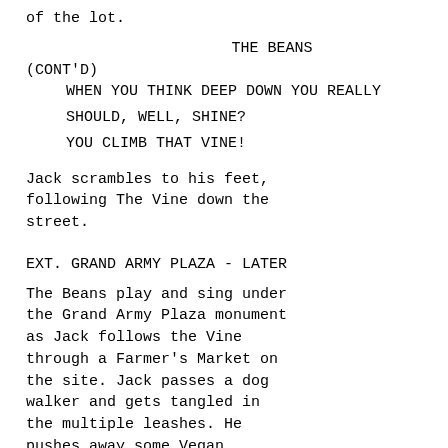of the lot.
THE BEANS
(CONT'D)
      WHEN YOU THINK DEEP DOWN YOU REALLY
      SHOULD, WELL, SHINE?
      YOU CLIMB THAT VINE!
Jack scrambles to his feet, following The Vine down the street.
EXT. GRAND ARMY PLAZA - LATER
The Beans play and sing under the Grand Army Plaza monument as Jack follows the Vine through a Farmer's Market on the site. Jack passes a dog walker and gets tangled in the multiple leashes. He pushes away some Vegan Brooklynites who are overly interested in the vine. Is it